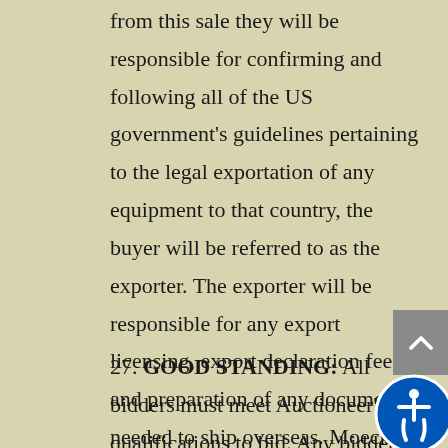from this sale they will be responsible for confirming and following all of the US government's guidelines pertaining to the legal exportation of any equipment to that country, the buyer will be referred to as the exporter. The exporter will be responsible for any export licensing, export declaration fees and preparation of any documents needed to ship overseas. Moecker Auctions, Inc. will not be responsible for any item purchased that cannot be legally exported.
27. GOOD STANDING: All bidders must meet Auctioneer's qualifications to bid. Any bidder who not in good standing with Moecker Auctions, Inc. and